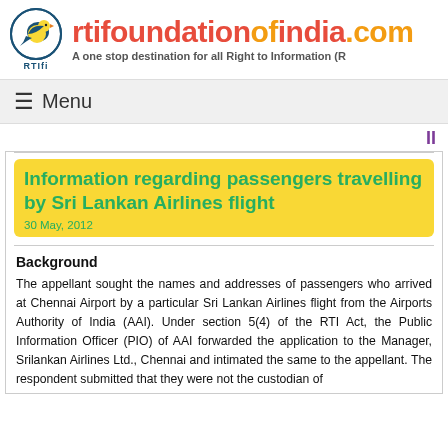[Figure (logo): RTI Foundation of India logo with a bird icon inside a blue circle and text RTIfi below]
rtifoundationofindia.com
A one stop destination for all Right to Information (R
≡ Menu
Information regarding passengers travelling by Sri Lankan Airlines flight
30 May, 2012
Background
The appellant sought the names and addresses of passengers who arrived at Chennai Airport by a particular Sri Lankan Airlines flight from the Airports Authority of India (AAI). Under section 5(4) of the RTI Act, the Public Information Officer (PIO) of AAI forwarded the application to the Manager, Srilankan Airlines Ltd., Chennai and intimated the same to the appellant. The respondent submitted that they were not the custodian of